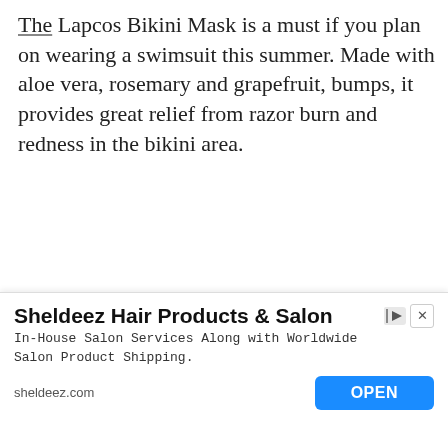The Lapcos Bikini Mask is a must if you plan on wearing a swimsuit this summer. Made with aloe vera, rosemary and grapefruit, bumps, it provides great relief from razor burn and redness in the bikini area.
[Figure (photo): Orange/salmon colored product packaging for Lapcos Calming Bikini Mask, with white abstract curved lines and 'CALMING BIKINI' text on the packet]
Sheldeez Hair Products & Salon
In-House Salon Services Along with Worldwide Salon Product Shipping.
sheldeez.com
OPEN